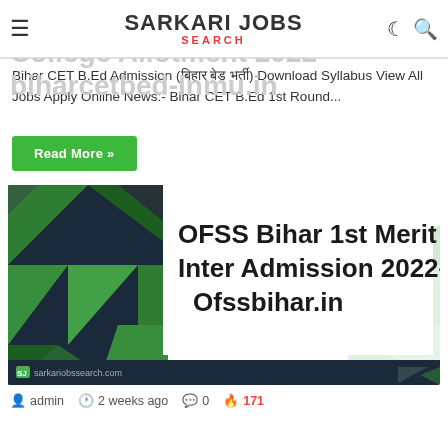SARKARI JOBS SEARCH
Bihar CET B.Ed 1st Round College Allotment 2022- biharcetbed-lnmu.in
Bihar CET B.Ed Admission (बिहार बेड भर्ती) Download Syllabus View All Jobs Apply Online News:- Bihar CET B.Ed 1st Round...
Read More »
[Figure (illustration): OFSS Bihar 1st Merit List Inter Admission 2022- Ofssbihar.in promotional banner with geometric triangle design in green, dark blue and white colors, with sarkariobssearch.com branding]
admin  2 weeks ago  0  171